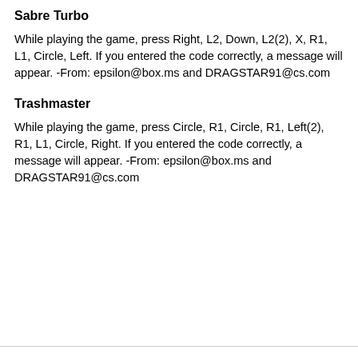Sabre Turbo
While playing the game, press Right, L2, Down, L2(2), X, R1, L1, Circle, Left. If you entered the code correctly, a message will appear. -From: epsilon@box.ms and DRAGSTAR91@cs.com
Trashmaster
While playing the game, press Circle, R1, Circle, R1, Left(2), R1, L1, Circle, Right. If you entered the code correctly, a message will appear. -From: epsilon@box.ms and DRAGSTAR91@cs.com